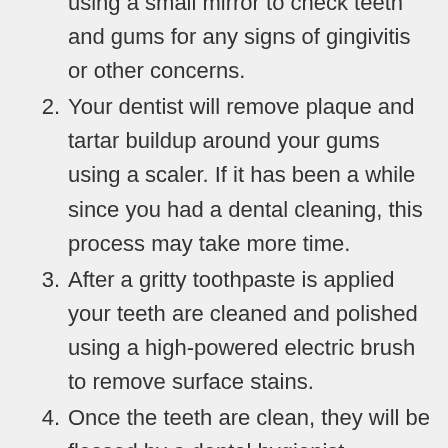using a small mirror to check teeth and gums for any signs of gingivitis or other concerns.
2. Your dentist will remove plaque and tartar buildup around your gums using a scaler. If it has been a while since you had a dental cleaning, this process may take more time.
3. After a gritty toothpaste is applied your teeth are cleaned and polished using a high-powered electric brush to remove surface stains.
4. Once the teeth are clean, they will be flossed by a dental hygienist.
5. After flossing you will rinse, to get rid of any debris. A gentle brushing may